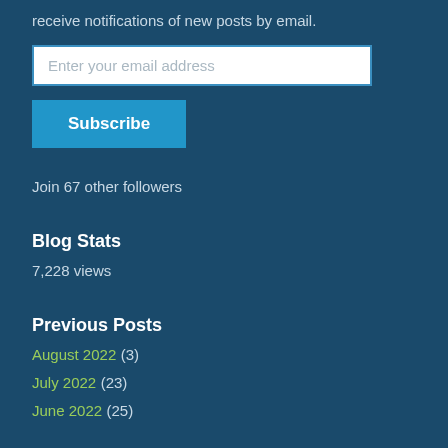receive notifications of new posts by email.
Enter your email address
Subscribe
Join 67 other followers
Blog Stats
7,228 views
Previous Posts
August 2022 (3)
July 2022 (23)
June 2022 (25)